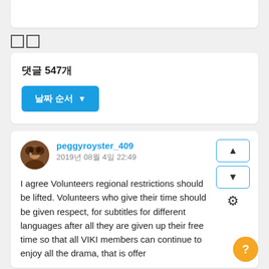댓글
댓글 547개
날짜 순서 ▼
peggyroyster_409
2019년 08월 4일 22:49
I agree Volunteers regional restrictions should be lifted. Volunteers who give their time should be given respect, for subtitles for different languages after all they are given up their free time so that all VIKI members can continue to enjoy all the drama, that is offer